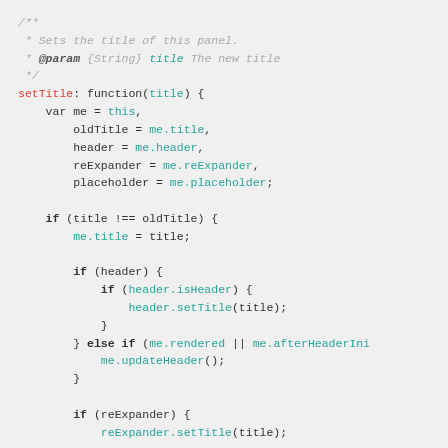/** * Sets the title of this panel. * @param {String} title The new title */ setTitle: function(title) { var me = this, oldTitle = me.title, header = me.header, reExpander = me.reExpander, placeholder = me.placeholder; if (title !== oldTitle) { me.title = title; if (header) { if (header.isHeader) { header.setTitle(title); } } else if (me.rendered || me.afterHeaderIni me.updateHeader(); } if (reExpander) { reExpander.setTitle(title);